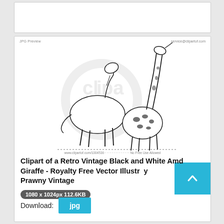[Figure (illustration): Clipart image of a retro vintage black and white horse and giraffe illustration with watermark overlay. Shows a white horse and a spotted giraffe side by side on a white background. Text 'JPG Preview' at top left, 'service@clipartof.com' at top right, and URL/copyright text at bottom.]
Clipart of a Retro Vintage Black and White Amd Giraffe - Royalty Free Vector Illustration by Prawny Vintage
1080 x 1024px 112.6KB
Download:  jpg